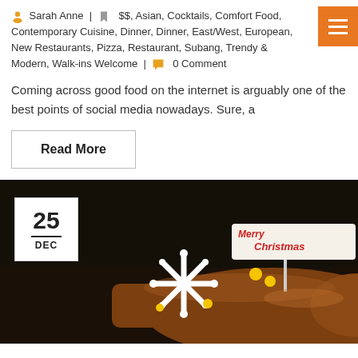Sarah Anne | $$, Asian, Cocktails, Comfort Food, Contemporary Cuisine, Dinner, Dinner, East/West, European, New Restaurants, Pizza, Restaurant, Subang, Trendy & Modern, Walk-ins Welcome | 0 Comment
Coming across good food on the internet is arguably one of the best points of social media nowadays. Sure, a
Read More
[Figure (photo): A Christmas Yule log cake decorated with a white snowflake, yellow candy decorations, and a 'Merry Christmas' sign. Date badge in top-left corner shows 25 DEC.]